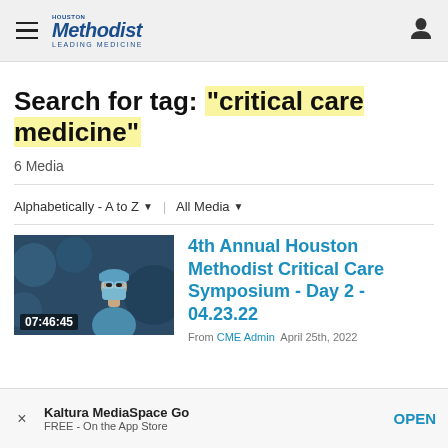Houston Methodist — navigation bar with hamburger menu and user icon
Search for tag: "critical care medicine"
6 Media
Alphabetically - A to Z  ▾   All Media  ▾
[Figure (screenshot): Thumbnail of a surgeon in surgical mask and cap, blue-toned medical setting, duration 07:46:45]
4th Annual Houston Methodist Critical Care Symposium - Day 2 - 04.23.22
From CME Admin  April 25th, 2022
Kaltura MediaSpace Go
FREE - On the App Store
OPEN